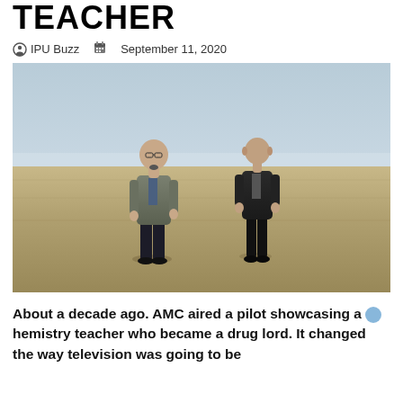TEACHER
IPU Buzz   September 11, 2020
[Figure (photo): Two men standing in a flat, dry open field under a cloudy sky. The man on the left wears a grey-green jacket and dark pants, the man on the right wears a dark jacket and dark pants.]
About a decade ago. AMC aired a pilot showcasing a chemistry teacher who became a drug lord. It changed the way television was going to be